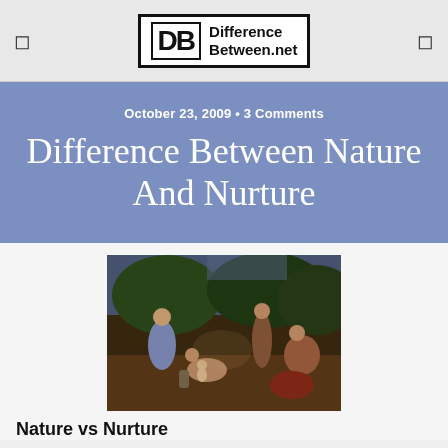DifferenceBetween.net
October 23, 2009 • 3 Comments
Difference Between Nature And Nurture
[Figure (photo): Classical oil painting depicting a group of figures in a pastoral scene, likely a mythological or historical subject with multiple people gathered outdoors.]
Nature vs Nurture